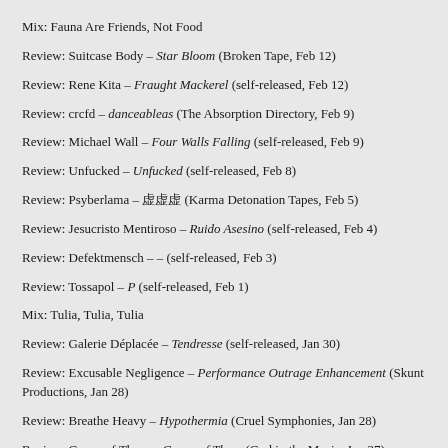Mix: Fauna Are Friends, Not Food
Review: Suitcase Body – Star Bloom (Broken Tape, Feb 12)
Review: Rene Kita – Fraught Mackerel (self-released, Feb 12)
Review: crcfd – danceableas (The Absorption Directory, Feb 9)
Review: Michael Wall – Four Walls Falling (self-released, Feb 9)
Review: Unfucked – Unfucked (self-released, Feb 8)
Review: Psyberlama – 虚虚虚 (Karma Detonation Tapes, Feb 5)
Review: Jesucristo Mentiroso – Ruido Asesino (self-released, Feb 4)
Review: Defektmensch – – (self-released, Feb 3)
Review: Tossapol – P (self-released, Feb 1)
Mix: Tulia, Tulia, Tulia
Review: Galerie Déplacée – Tendresse (self-released, Jan 30)
Review: Excusable Negligence – Performance Outrage Enhancement (Skunt Productions, Jan 28)
Review: Breathe Heavy – Hypothermia (Cruel Symphonies, Jan 28)
Review: Group of Three – Group of Three (God in the Music, Jan 27)
Review: Razorwire Handcuffs – A Life of Gore (Audible Violence, Jan 25)
Review: Kortslutning – Self Obliteration (self-released, Jan 24)